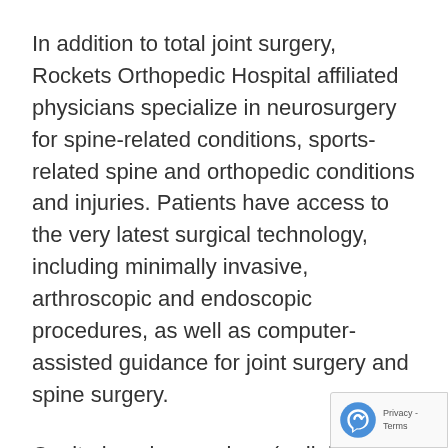In addition to total joint surgery, Rockets Orthopedic Hospital affiliated physicians specialize in neurosurgery for spine-related conditions, sports-related spine and orthopedic conditions and injuries. Patients have access to the very latest surgical technology, including minimally invasive, arthroscopic and endoscopic procedures, as well as computer-assisted guidance for joint surgery and spine surgery.
Onsite imaging services (radiology, MRI, CT, fluoroscopy and digital X-ray), in addition physical and occupational therapy, transla convenience for patients both pre- and